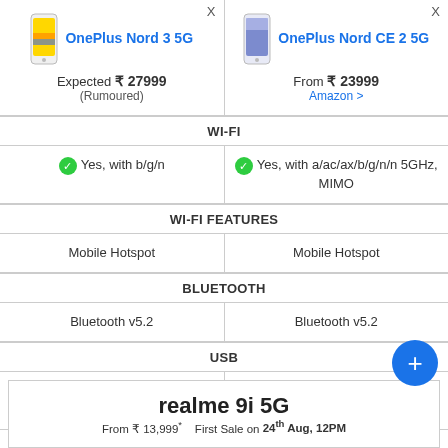| OnePlus Nord 3 5G | OnePlus Nord CE 2 5G |
| --- | --- |
| Expected ₹ 27999
(Rumoured) | From ₹ 23999
Amazon > |
| WI-FI | WI-FI |
| Yes, with b/g/n | Yes, with a/ac/ax/b/g/n/n 5GHz, MIMO |
| WI-FI FEATURES | WI-FI FEATURES |
| Mobile Hotspot | Mobile Hotspot |
| BLUETOOTH | BLUETOOTH |
| Bluetooth v5.2 | Bluetooth v5.2 |
| USB | USB |
| USB Type-C, Mass storage device, USB charging | USB Type-C, Mass storage device, USB charging, USB On-The-Go |
[Figure (infographic): realme 9i 5G advertisement banner: From ₹13,999* First Sale on 24th Aug, 12PM]